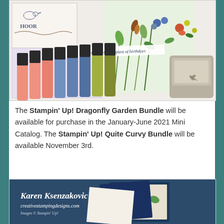[Figure (photo): Photo of colorful Stampin' Up! markers (pink, blue, green/olive tones) laid in a fan arrangement on a white surface, with greeting cards featuring floral designs and the text 'wishing you the happiest of birthdays' on a banner, and a gray embossing tool/punch in the background.]
The Stampin' Up! Dragonfly Garden Bundle will be available for purchase in the January-June 2021 Mini Catalog. The Stampin' Up! Quite Curvy Bundle will be available November 3rd.
[Figure (photo): Photo showing crafting cards with floral patterns (dragonfly garden style), with a watermark overlay reading 'Karen Ksenzakovic' and 'creativestampingdesigns.com' and 'Images © Stampin' Up!' on a dark teal/navy background with colorful botanical design cards.]